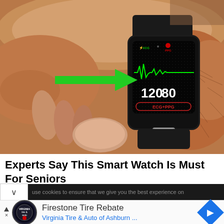[Figure (photo): A close-up photo of hands holding a smart fitness band/watch on a hairy wrist. The watch displays ECG+PPG readings with a green ECG waveform on a dark screen, showing blood pressure 120/80. A large green arrow points toward the watch screen. The watch label says ECG+PPG.]
Experts Say This Smart Watch Is Must For Seniors
use cookies to ensure that we give you the best experience on
Firestone Tire Rebate
Virginia Tire & Auto of Ashburn ...